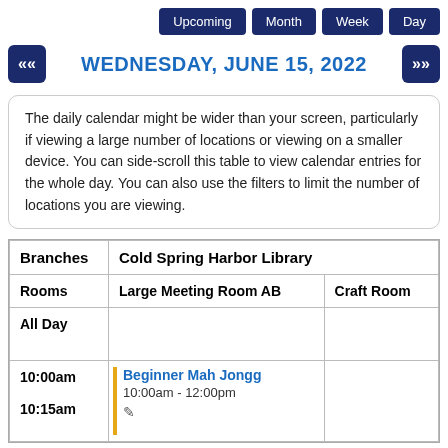Upcoming | Month | Week | Day
WEDNESDAY, JUNE 15, 2022
The daily calendar might be wider than your screen, particularly if viewing a large number of locations or viewing on a smaller device. You can side-scroll this table to view calendar entries for the whole day. You can also use the filters to limit the number of locations you are viewing.
| Branches | Cold Spring Harbor Library |  |
| --- | --- | --- |
| Rooms | Large Meeting Room AB | Craft Room |
| All Day |  |  |
| 10:00am
10:15am | Beginner Mah Jongg
10:00am - 12:00pm
✏ |  |